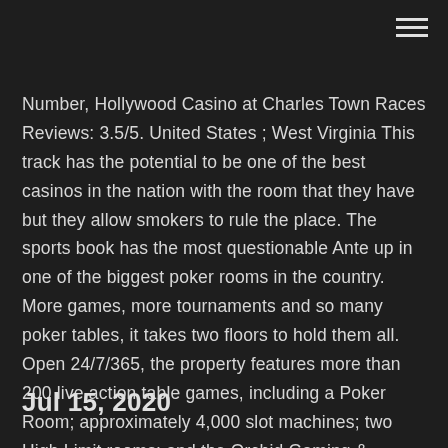Number, Hollywood Casino at Charles Town Races Reviews: 3.5/5. United States ; West Virginia This track has the potential to be one of the best casinos in the nation with the room that they have but they allow smokers to rule the place. The sports book has the most questionable Ante up in one of the biggest poker rooms in the country. More games, more tournaments and so many poker tables, it takes two floors to hold them all. Open 24/7/365, the property features more than 200 live action table games, including a Poker Room; approximately 4,000 slot machines; two High Limit rooms; and the Orchid Gaming & Smoking Patio.
Jul 15, 2020